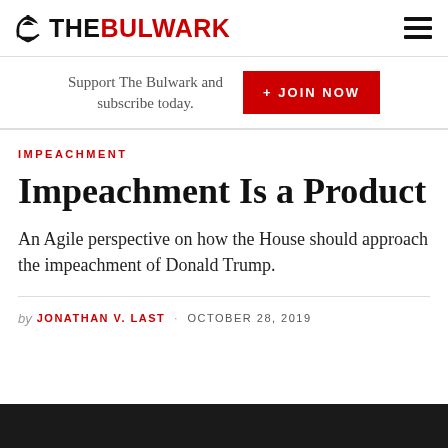THE BULWARK
Support The Bulwark and subscribe today.
+ JOIN NOW
IMPEACHMENT
Impeachment Is a Product
An Agile perspective on how the House should approach the impeachment of Donald Trump.
by JONATHAN V. LAST · OCTOBER 28, 2019